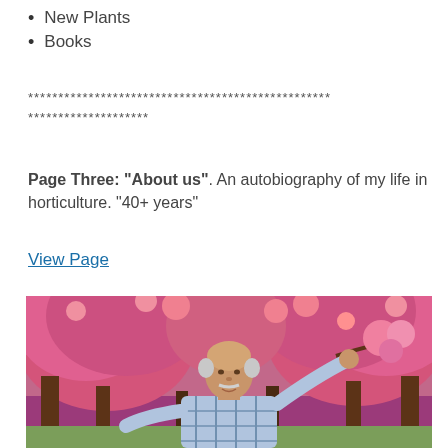New Plants
Books
************************************************** ********************
Page Three: “About us”. An autobiography of my life in horticulture. “40+ years”
View Page
[Figure (photo): An elderly man with a white mustache standing in front of cherry blossom trees in full pink bloom, holding a branch of blossoms, wearing a plaid shirt.]